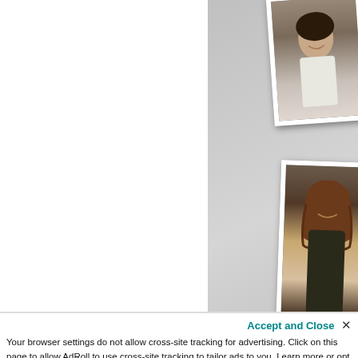[Figure (photo): Cropped photo of a smiling person, polaroid style with white border, tilted slightly]
support from women who have t... challenge is encouraging and ins...
[Figure (photo): Photo of a woman with long brown hair, polaroid style with white border]
“PCOS Challenge is the most enlig... PCOS website I’ve found! It’s exhil... know we can beat these symptom... hard work and begin to feel norm...
[Figure (logo): PCOS Challenge logo with teal silhouette of a woman with orbital rings around her]
Join the PCOS Challenge S
Connect with thousands of othe...
Access free PCOS Support to help w... excessive hair growth or hair loss. Get
Accept and Close ×
Your browser settings do not allow cross-site tracking for advertising. Click on this page to allow AdRoll to use cross-site tracking to tailor ads to you. Learn more or opt out of this AdRoll tracking by clicking here. This message only appears once.